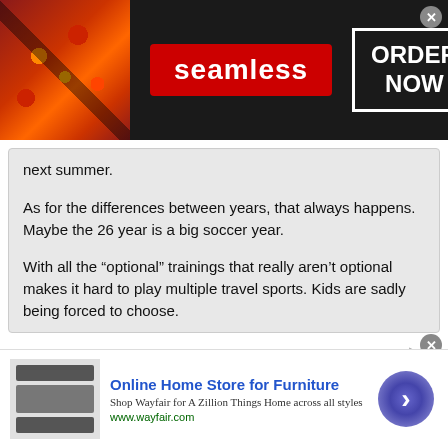[Figure (screenshot): Seamless food delivery advertisement banner with pizza image, red Seamless logo button, and ORDER NOW box on dark background]
next summer.
As for the differences between years, that always happens. Maybe the 26 year is a big soccer year.
With all the “optional” trainings that really aren’t optional makes it hard to play multiple travel sports. Kids are sadly being forced to choose.
I watched YJ 27 B team last year (Gaghan) and it was a 2 girl teams. Assuming both girls moved either to A team or somewhere else, i can't see this team being competitive at all. Not sure I see the depth at the 27 level.
[Figure (screenshot): Wayfair advertisement: Online Home Store for Furniture, Shop Wayfair for A Zillion Things Home across all styles, www.wayfair.com, with arrow button]